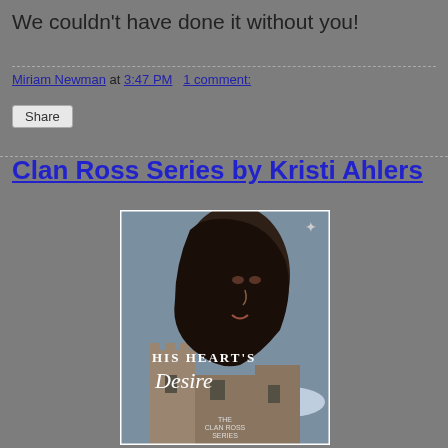We couldn't have done it without you!
Miriam Newman at 3:47 PM   1 comment:
Share
Clan Ross Series by Kristi Ahlers
[Figure (photo): Book cover for 'His Heart's Desire' from The Clan Ross Series. Shows a young dark-haired woman looking down, with a Scottish castle in the background and clouds in the sky. A small leaf/branch logo appears in the upper right.]